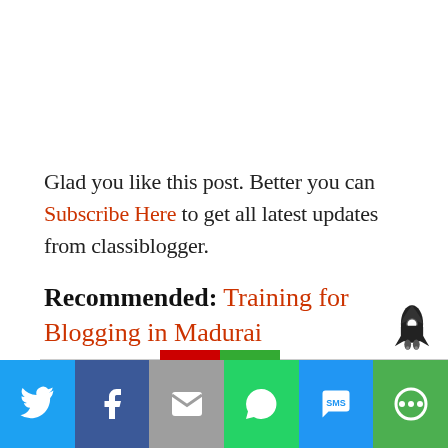Glad you like this post. Better you can Subscribe Here to get all latest updates from classiblogger.
Recommended: Training for Blogging in Madurai
[Figure (other): Social share bar with Twitter, Facebook, Email, WhatsApp, SMS, and More buttons at the bottom of the page]